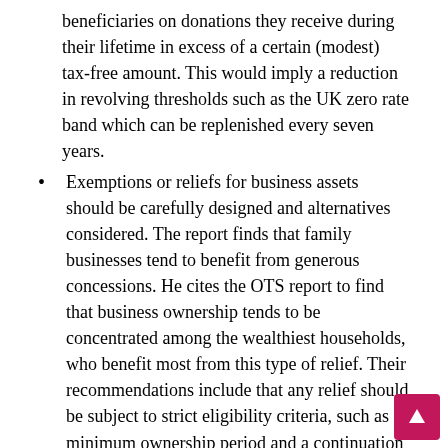beneficiaries on donations they receive during their lifetime in excess of a certain (modest) tax-free amount. This would imply a reduction in revolving thresholds such as the UK zero rate band which can be replenished every seven years.
Exemptions or reliefs for business assets should be carefully designed and alternatives considered. The report finds that family businesses tend to benefit from generous concessions. He cites the OTS report to find that business ownership tends to be concentrated among the wealthiest households, who benefit most from this type of relief. Their recommendations include that any relief should be subject to strict eligibility criteria, such as a minimum ownership period and a continuation condition (i.e. the business must continue after its transfer and, if not, l relief would be subject to clawback). Countries might consider capping the amount of relief available or introducing some form of resource control. An alternative reform consists in having a relatively low IHT rate and in